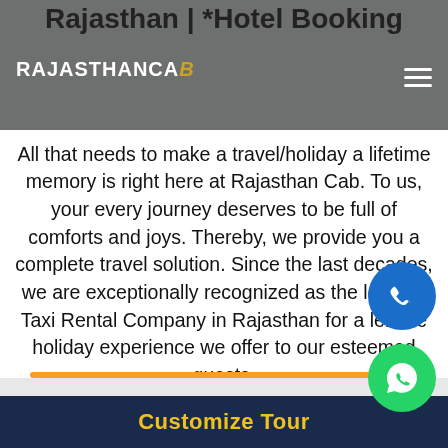Rajasthan | *Hotel Booking
[Figure (logo): RajasthanCab logo in white text with golden italic B, on gray background header]
All that needs to make a travel/holiday a lifetime memory is right here at Rajasthan Cab. To us, your every journey deserves to be full of comforts and joys. Thereby, we provide you a complete travel solution. Since the last decades, we are exceptionally recognized as the leading Taxi Rental Company in Rajasthan for a leisure holiday experience we offer to our esteemed guests.
[Figure (illustration): Blue circular phone call button icon]
[Figure (illustration): Green circular WhatsApp icon]
Customize Tour